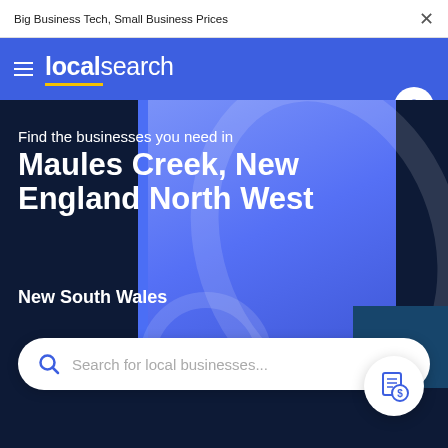Big Business Tech, Small Business Prices
localsearch
Find the businesses you need in Maules Creek, New England North West
New South Wales
Search for local businesses...